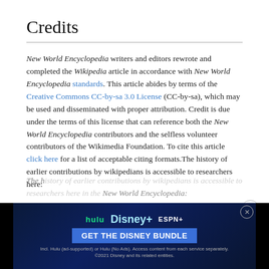Credits
New World Encyclopedia writers and editors rewrote and completed the Wikipedia article in accordance with New World Encyclopedia standards. This article abides by terms of the Creative Commons CC-by-sa 3.0 License (CC-by-sa), which may be used and disseminated with proper attribution. Credit is due under the terms of this license that can reference both the New World Encyclopedia contributors and the selfless volunteer contributors of the Wikimedia Foundation. To cite this article click here for a list of acceptable citing formats.The history of earlier contributions by wikipedians is accessible to researchers here:
[Figure (other): Advertisement banner for the Disney Bundle featuring Hulu, Disney+, and ESPN+ logos with a 'GET THE DISNEY BUNDLE' call-to-action button and fine print.]
The h... New World Encyclopedia: